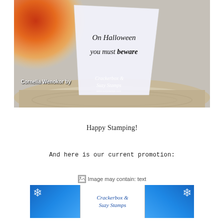[Figure (photo): Photo of a Halloween card standing on a wood slice base. The card reads 'On Halloween you must beware' in spooky handwritten font. Orange and purple ink sponging decorates the card. Watermark text reads 'Cornelia Wenokor by Crackerbox & Suzy Stamps'.]
Happy Stamping!
And here is our current promotion:
[Figure (photo): Broken image placeholder with alt text 'Image may contain: text', followed by a promotional banner for Crackerbox & Suzy Stamps with blue winter/snowflake background and white center panel showing the brand logo text.]